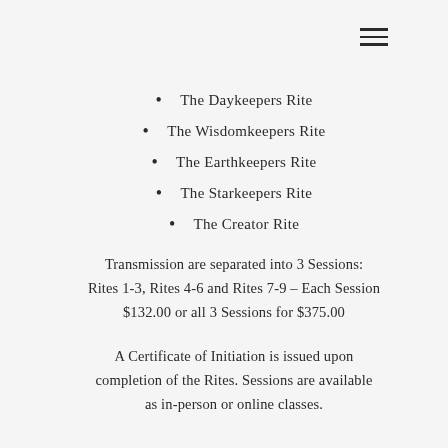The Daykeepers Rite
The Wisdomkeepers Rite
The Earthkeepers Rite
The Starkeepers Rite
The Creator Rite
Transmission are separated into 3 Sessions: Rites 1-3, Rites 4-6 and Rites 7-9 – Each Session $132.00 or all 3 Sessions for $375.00
A Certificate of Initiation is issued upon completion of the Rites. Sessions are available as in-person or online classes.